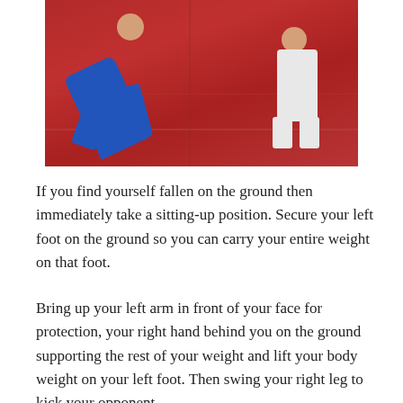[Figure (photo): Judo or martial arts training photo showing a person in a blue gi performing a technique on a red mat, with another person in white gi standing in the background.]
If you find yourself fallen on the ground then immediately take a sitting-up position. Secure your left foot on the ground so you can carry your entire weight on that foot.
Bring up your left arm in front of your face for protection, your right hand behind you on the ground supporting the rest of your weight and lift your body weight on your left foot. Then swing your right leg to kick your opponent.
As your opponent moves back regardless of whether